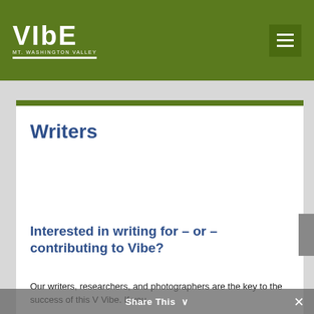VIBE MT. WASHINGTON VALLEY
Writers
Interested in writing for – or – contributing to Vibe?
Our writers, researchers, and photographers are the key to the success of this V Vibe. If you